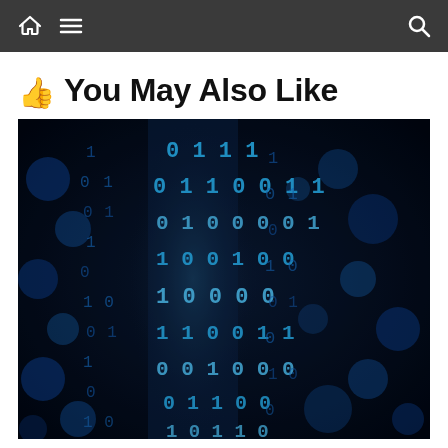Navigation bar with home, menu, and search icons
👍 You May Also Like
[Figure (photo): Close-up photograph of glowing blue binary code (0s and 1s) on a dark background, simulating a digital data stream.]